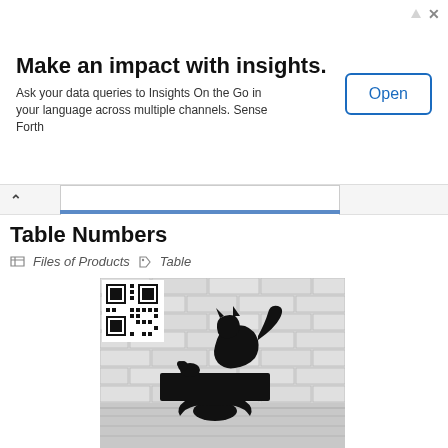[Figure (infographic): Advertisement banner: 'Make an impact with insights. Ask your data queries to Insights On the Go in your language across multiple channels. Sense Forth' with an Open button.]
Table Numbers
Files of Products   Table
[Figure (photo): A black metal cat silhouette table number sign displayed on a white brick wall background, with a QR code in the top left corner.]